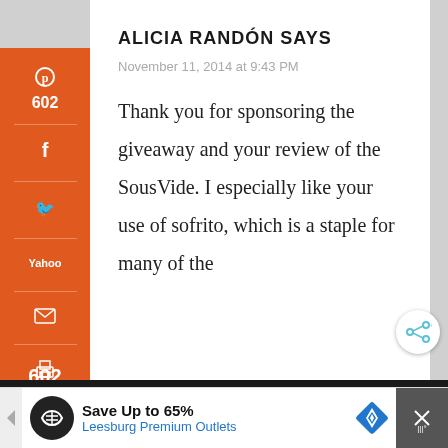ALICIA RANDÓN SAYS
November 11, 2014 at 9:43 PM
Thank you for sponsoring the giveaway and your review of the SousVide. I especially like your use of sofrito, which is a staple for many of the
[Figure (screenshot): Orange social sharing sidebar with Pinterest (602), Facebook, Twitter, Yahoo, Email, Print icons]
602 SHARES
[Figure (screenshot): Advertisement banner: Save Up to 65% - Leesburg Premium Outlets]